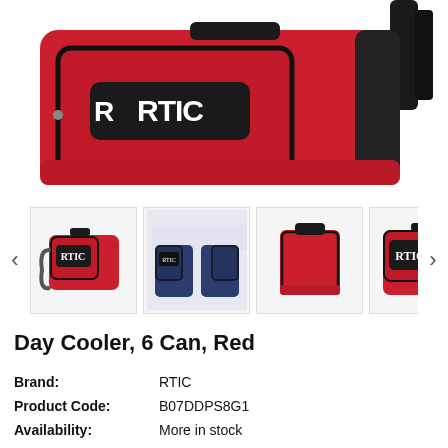[Figure (photo): Close-up of a red RTIC Day Cooler bag with black zipper and RTIC logo on front pocket, with black strap visible on right side.]
[Figure (photo): Thumbnail gallery row showing 4 product images: red RTIC cooler (selected), navy blue RTIC cooler front/back views, red cooler side view, red cooler front with logo.]
Day Cooler, 6 Can, Red
Brand: RTIC
Product Code: B07DDPS8G1
Availability: More in stock